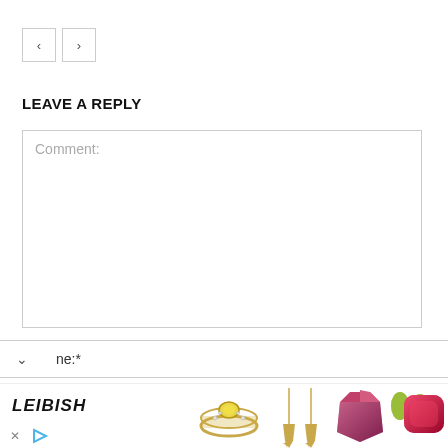[Figure (other): Navigation previous and next arrow buttons]
LEAVE A REPLY
Comment:
ne:*
[Figure (other): Leibish advertisement banner with jewelry images including a yellow diamond ring, gold drop earrings, purple gemstone, green peridot drops, and red ruby cushion]